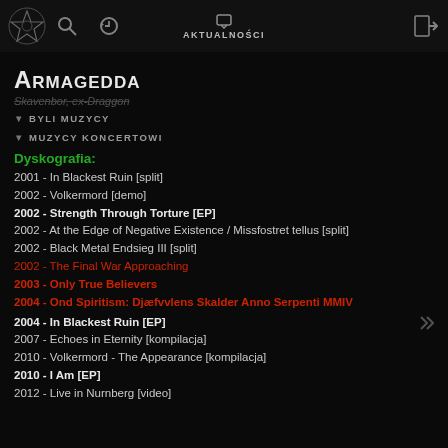AKTUALNOŚCI
Armagedda
Skavenbor, ex-Draggon
▼ BYLI MUZYCY
▼ MUZYCY KONCERTOWI
Dyskografia:
2001 - In Blackest Ruin [split]
2002 - Volkermord [demo]
2002 - Strength Through Torture [EP]
2002 - At the Edge of Negative Existence / Missfostret tellus [split]
2002 - Black Metal Endsieg III [split]
2002 - The Final War Approaching
2003 - Only True Believers
2004 - Ond Spiritism: Djæfvvlens Skalder Anno Serpenti MMIV
2004 - In Blackest Ruin [EP]
2007 - Echoes in Eternity [kompilacja]
2010 - Volkermord - The Appearance [kompilacja]
2010 - I Am [EP]
2012 - Live in Nurnberg [video]